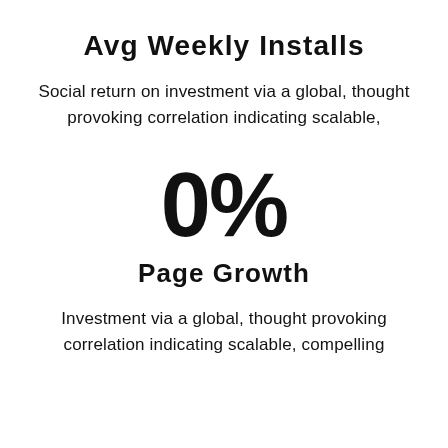Avg Weekly Installs
Social return on investment via a global, thought provoking correlation indicating scalable,
0%
Page Growth
Investment via a global, thought provoking correlation indicating scalable, compelling